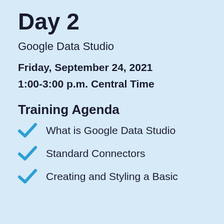Day 2
Google Data Studio
Friday, September 24, 2021
1:00-3:00 p.m. Central Time
Training Agenda
What is Google Data Studio
Standard Connectors
Creating and Styling a Basic